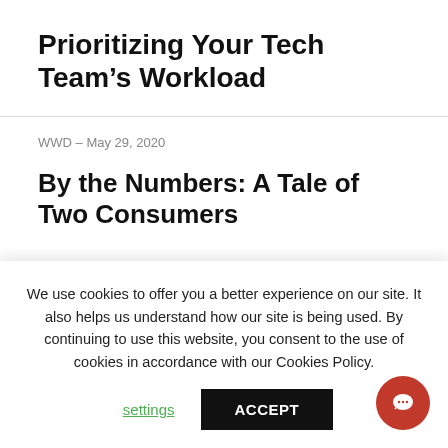Prioritizing Your Tech Team’s Workload
WWD – May 29, 2020
By the Numbers: A Tale of Two Consumers
We use cookies to offer you a better experience on our site. It also helps us understand how our site is being used. By continuing to use this website, you consent to the use of cookies in accordance with our Cookies Policy.
settings   ACCEPT